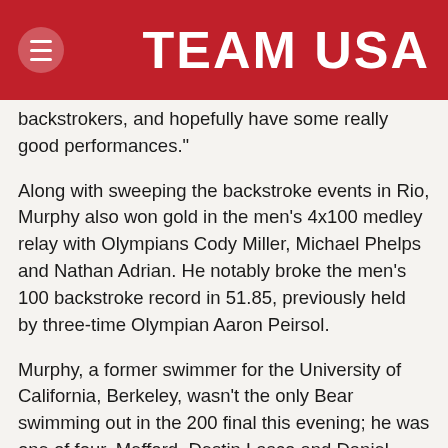TEAM USA
backstrokers, and hopefully have some really good performances."
Along with sweeping the backstroke events in Rio, Murphy also won gold in the men’s 4x100 medley relay with Olympians Cody Miller, Michael Phelps and Nathan Adrian. He notably broke the men’s 100 backstroke record in 51.85, previously held by three-time Olympian Aaron Peirsol.
Murphy, a former swimmer for the University of California, Berkeley, wasn’t the only Bear swimming out in the 200 final this evening; he was one of four. Mefford, Destin Lasco and Daniel Carr all qualified for the final as well. Murphy had nothing but praise for his fellow Cal swimmers, believing that they pushed him harder to